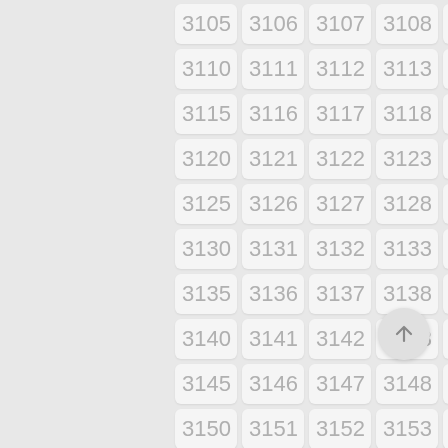[Figure (other): A grid of numbered cells from 3105 to 3159, arranged in 5 columns and 11 rows, each cell styled as a rounded rectangle with a light gray background and light gray number text. A circular scroll-to-top button with an upward arrow is displayed at the bottom right.]